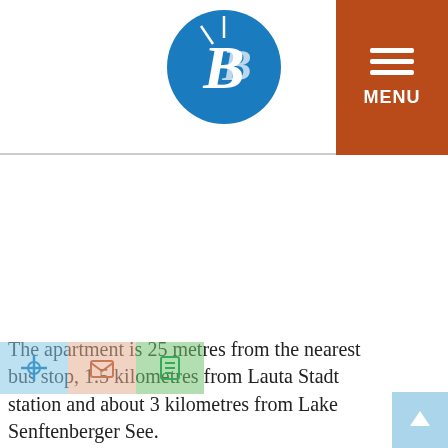[Figure (logo): Blue circular logo with stylized 'BB' letter mark in white]
[Figure (other): Orange/brown menu button with three white horizontal bars and 'MENU' text]
[Figure (other): Blue left arrow navigation button for image slider]
[Figure (other): Blue right arrow navigation button for image slider]
[Figure (other): White blank image/slideshow area]
The apartment is 25 metres from the nearest bus stop, 1.5 kilometres from Lauta Stadt station and about 3 kilometres from Lake Senftenberger See.